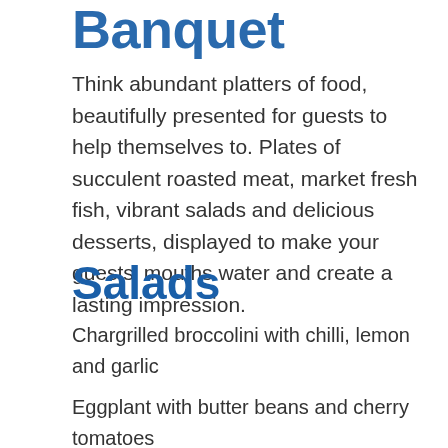Banquet
Think abundant platters of food, beautifully presented for guests to help themselves to. Plates of succulent roasted meat, market fresh fish, vibrant salads and delicious desserts, displayed to make your guests' mouths water and create a lasting impression.
Salads
Chargrilled broccolini with chilli, lemon and garlic
Eggplant with butter beans and cherry tomatoes
Kale and Brussels sprouts with pecorino and almonds
Cardamom roasted butternut pumpkin with tahini